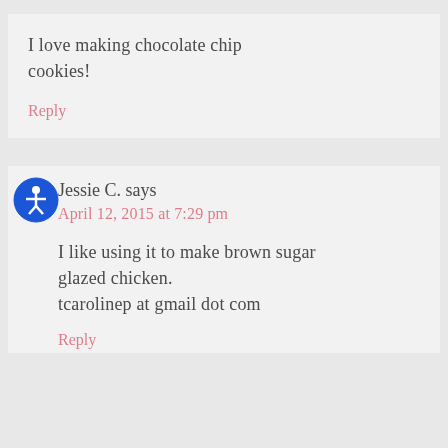I love making chocolate chip cookies!
Reply
Jessie C. says
April 12, 2015 at 7:29 pm
I like using it to make brown sugar glazed chicken.
tcarolinep at gmail dot com
Reply